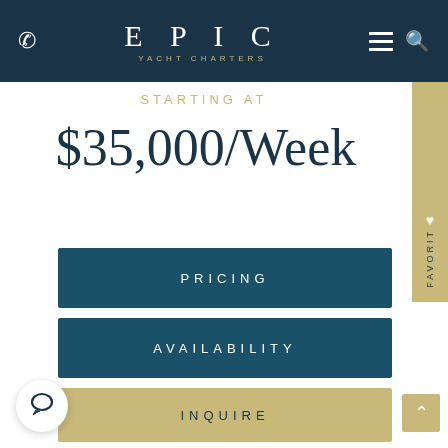EPIC YACHT CHARTERS — navigation bar with phone, logo, hamburger menu, search
STARTING AT
$35,000/Week
PRICING
AVAILABILITY
INQUIRE